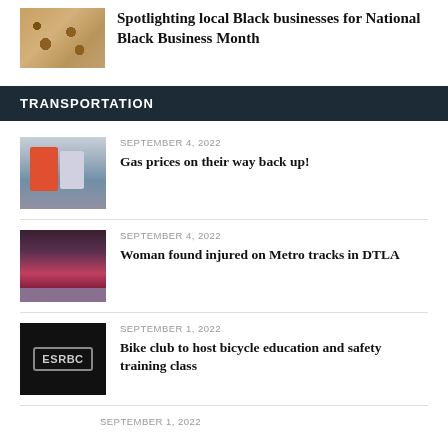[Figure (photo): Photo of cookies on a tray near a jar]
Spotlighting local Black businesses for National Black Business Month
TRANSPORTATION
SEPTEMBER 4, 2022
[Figure (photo): Photo of gas station pump panel with red and gray pumps]
Gas prices on their way back up!
SEPTEMBER 4, 2022
[Figure (photo): Photo of Metro train on tracks in a dark station]
Woman found injured on Metro tracks in DTLA
SEPTEMBER 1, 2022
[Figure (logo): ESRBC logo on black background with badge border]
Bike club to host bicycle education and safety training class
SEPTEMBER 1, 2022